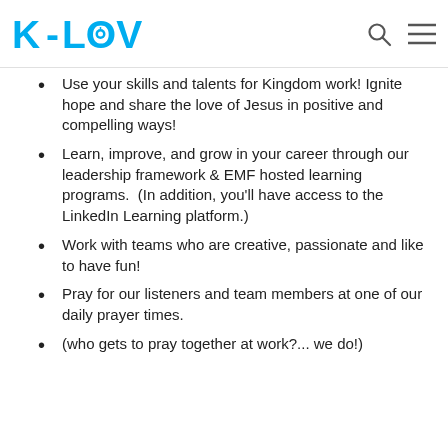K-LOVE
Use your skills and talents for Kingdom work! Ignite hope and share the love of Jesus in positive and compelling ways!
Learn, improve, and grow in your career through our leadership framework & EMF hosted learning programs.  (In addition, you'll have access to the LinkedIn Learning platform.)
Work with teams who are creative, passionate and like to have fun!
Pray for our listeners and team members at one of our daily prayer times.
(who gets to pray together at work?... we do!)